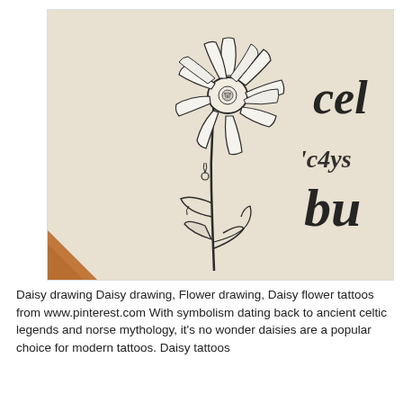[Figure (illustration): A pencil sketch illustration of a daisy flower with long stem, leaves, and small bud. To the right of the stem are decorative calligraphy words partially visible. The background is beige/cream colored paper. A small orange/brown book corner is visible in the lower-left area.]
Daisy drawing Daisy drawing, Flower drawing, Daisy flower tattoos from www.pinterest.com With symbolism dating back to ancient celtic legends and norse mythology, it's no wonder daisies are a popular choice for modern tattoos. Daisy tattoos